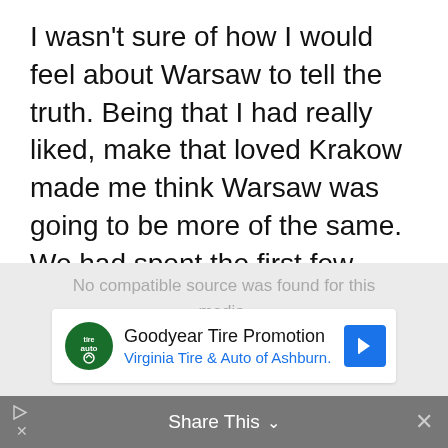I wasn't sure of how I would feel about Warsaw to tell the truth. Being that I had really liked, make that loved Krakow made me think Warsaw was going to be more of the same. We had spent the first few days in Krakow and went to Warsaw for the weekend.
[Figure (screenshot): Advertisement overlay: Goodyear Tire Promotion from Virginia Tire & Auto of Ashburn with a blue navigation arrow icon and a share/close bar at the bottom.]